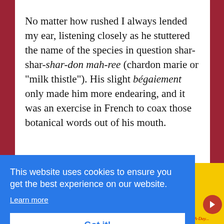No matter how rushed I always lended my ear, listening closely as he stuttered the name of the species in question shar-shar-shar-don mah-ree (chardon marie or "milk thistle"). His slight bégaiement only made him more endearing, and it was an exercise in French to coax those botanical words out of his mouth.
[Figure (screenshot): Cookie consent banner overlay on a webpage with yellow book advertisement area. Banner reads: 'This website uses cookies to ensure you get the best experience on our website.' with a 'Learn more' link and a 'Got it!' button. A red circular arrow navigation button is visible at the bottom right.]